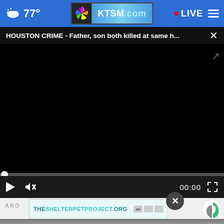77° KTSM.com • LIVE
HOUSTON CRIME - Father, son both killed at same h... ×
[Figure (screenshot): Black video player area with progress bar at bottom showing 00:00 timestamp and playback controls including play button, mute button, and fullscreen button]
ARO
[Figure (screenshot): Advertisement banner showing THESHELTERPETPROJECT.ORG with ad indicators and Taboola icon, overlaid on page with X close button]